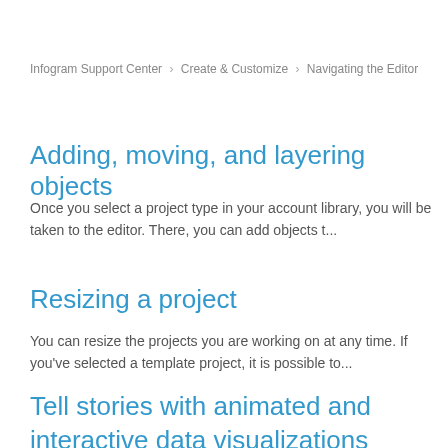Infogram Support Center > Create & Customize > Navigating the Editor
Adding, moving, and layering objects
Once you select a project type in your account library, you will be taken to the editor. There, you can add objects t...
Resizing a project
You can resize the projects you are working on at any time. If you've selected a template project, it is possible to...
Tell stories with animated and interactive data visualizations